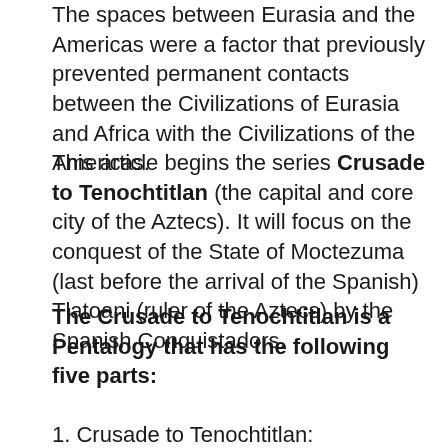The spaces between Eurasia and the Americas were a factor that previously prevented permanent contacts between the Civilizations of Eurasia and Africa with the Civilizations of the Americas.
This article begins the series Crusade to Tenochtitlan (the capital and core city of the Aztecs). It will focus on the conquest of the State of Moctezuma (last before the arrival of the Spanish) Tlatoani (ruler of the Aztecs) by the Spanish Conquistadors.
The Crusade to Tenochtitlan is a Pentalogy that has the following five parts:
1. Crusade to Tenochtitlan: Arrhythmic